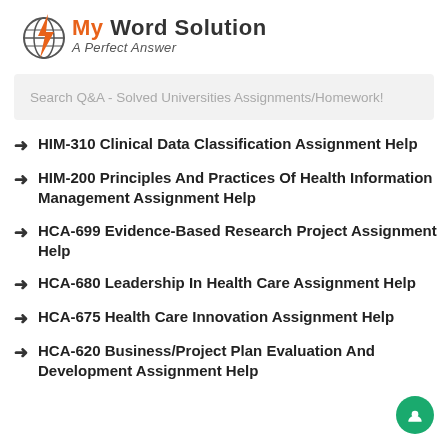[Figure (logo): My Word Solution logo with lightning bolt globe icon and tagline 'A Perfect Answer']
Search Q&A - Solved Universities Assignments/Homework!
HIM-310 Clinical Data Classification Assignment Help
HIM-200 Principles And Practices Of Health Information Management Assignment Help
HCA-699 Evidence-Based Research Project Assignment Help
HCA-680 Leadership In Health Care Assignment Help
HCA-675 Health Care Innovation Assignment Help
HCA-620 Business/Project Plan Evaluation And Development Assignment Help